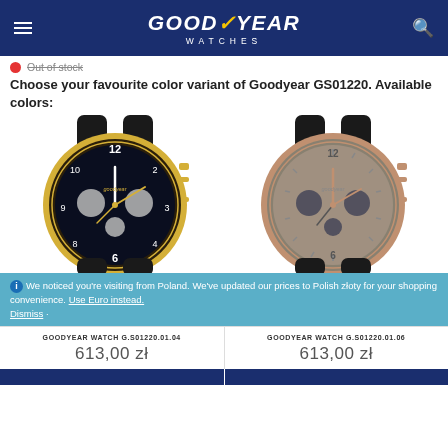GOODYEAR WATCHES
Out of stock
Choose your favourite color variant of Goodyear GS01220. Available colors:
[Figure (photo): Two Goodyear chronograph watches with black rubber straps — left watch has a dark blue/black dial with gold case, right watch has a grey dial with rose gold case]
We noticed you're visiting from Poland. We've updated our prices to Polish złoty for your shopping convenience. Use Euro instead. Dismiss
GOODYEAR WATCH G.S01220.01.04
613,00 zł
GOODYEAR WATCH G.S01220.01.06
613,00 zł